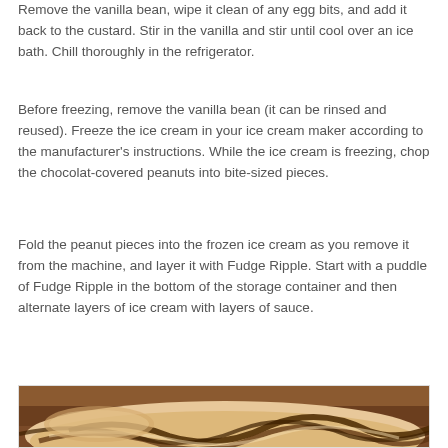Remove the vanilla bean, wipe it clean of any egg bits, and add it back to the custard. Stir in the vanilla and stir until cool over an ice bath. Chill thoroughly in the refrigerator.
Before freezing, remove the vanilla bean (it can be rinsed and reused). Freeze the ice cream in your ice cream maker according to the manufacturer's instructions. While the ice cream is freezing, chop the chocolat-covered peanuts into bite-sized pieces.
Fold the peanut pieces into the frozen ice cream as you remove it from the machine, and layer it with Fudge Ripple. Start with a puddle of Fudge Ripple in the bottom of the storage container and then alternate layers of ice cream with layers of sauce.
[Figure (photo): Close-up photograph of ice cream with chocolate fudge ripple swirls in a container, warm brown tones]